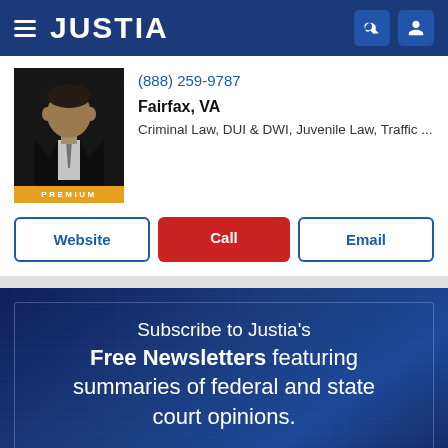JUSTIA
(888) 259-9787
Fairfax, VA
Criminal Law, DUI & DWI, Juvenile Law, Traffic ...
Website | Call | Email
PREMIUM
Subscribe to Justia's Free Newsletters featuring summaries of federal and state court opinions.
Subscribe Now